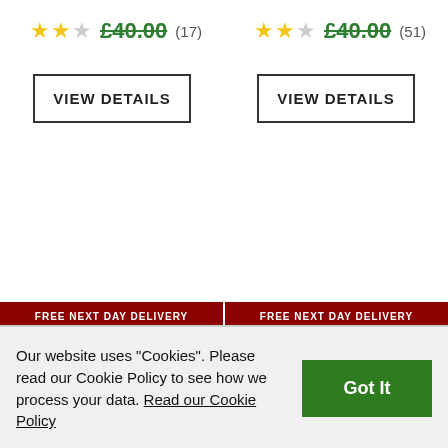★★£40.00 (17)
★★£40.00 (51)
VIEW DETAILS
VIEW DETAILS
FREE NEXT DAY DELIVERY
FREE NEXT DAY DELIVERY
Our website uses "Cookies". Please read our Cookie Policy to see how we process your data. Read our Cookie Policy
Got It